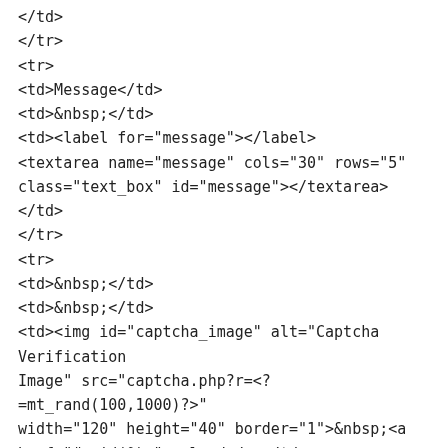</td>
</tr>
<tr>
<td>Message</td>
<td>&nbsp;</td>
<td><label for="message"></label>
<textarea name="message" cols="30" rows="5"
class="text_box" id="message"></textarea></td>
</tr>
<tr>
<td>&nbsp;</td>
<td>&nbsp;</td>
<td><img id="captcha_image" alt="Captcha Verification
Image" src="captcha.php?r=<?=mt_rand(100,1000)?>"
width="120" height="40" border="1">&nbsp;<a
href="javascript:void(0);"
onClick="javascript:reload_captcha();">reload</a></td>
</tr>
<tr>
<td>Verification Code</td>
<td>:</td>
<td><label for="verification_code"></label><input